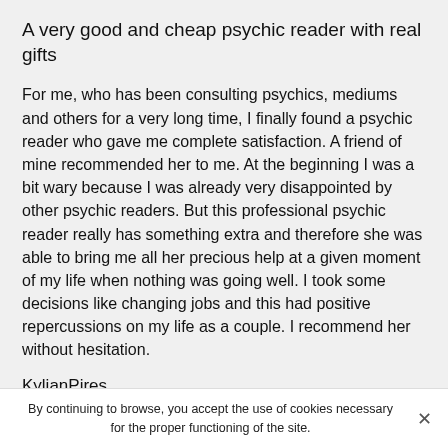A very good and cheap psychic reader with real gifts
For me, who has been consulting psychics, mediums and others for a very long time, I finally found a psychic reader who gave me complete satisfaction. A friend of mine recommended her to me. At the beginning I was a bit wary because I was already very disappointed by other psychic readers. But this professional psychic reader really has something extra and therefore she was able to bring me all her precious help at a given moment of my life when nothing was going well. I took some decisions like changing jobs and this had positive repercussions on my life as a couple. I recommend her without hesitation.
KylianPires
★★★★★ 5/5
By continuing to browse, you accept the use of cookies necessary for the proper functioning of the site.